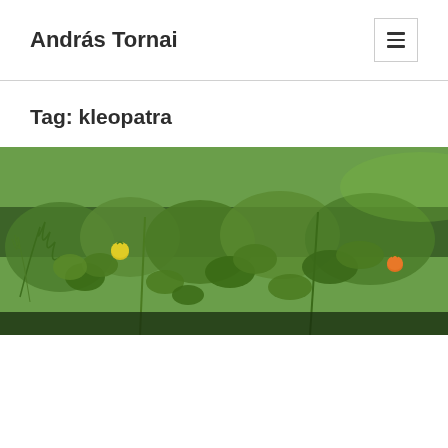András Tornai
Tag: kleopatra
[Figure (photo): Garden photo showing green leafy plants, tomato plants with small yellow and orange tomatoes, growing in a raised bed or container with a dark background.]